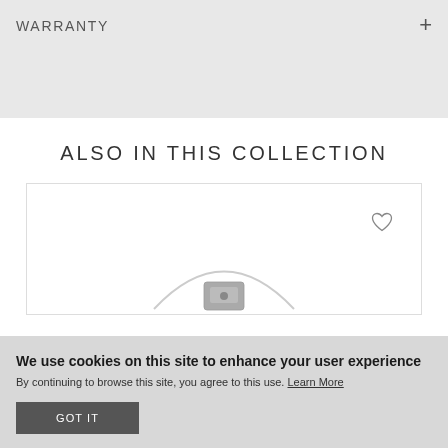WARRANTY
ALSO IN THIS COLLECTION
[Figure (photo): Product photo of a small electronic device with white cable, shown partially in a product card with a heart/wishlist icon in the top right corner]
We use cookies on this site to enhance your user experience
By continuing to browse this site, you agree to this use. Learn More
GOT IT